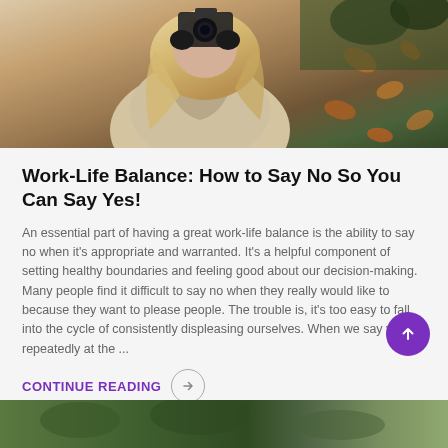[Figure (photo): Woman with blonde hair wearing a beige jacket, photographing with a camera outdoors among autumn leaves]
Work-Life Balance: How to Say No So You Can Say Yes!
An essential part of having a great work-life balance is the ability to say no when it's appropriate and warranted. It's a helpful component of setting healthy boundaries and feeling good about our decision-making. Many people find it difficult to say no when they really would like to because they want to please people. The trouble is, it's too easy to fall into the cycle of consistently displeasing ourselves. When we say yes repeatedly at the ...
CONTINUE READING →
[Figure (photo): Partial view of another article's hero image showing green foliage]